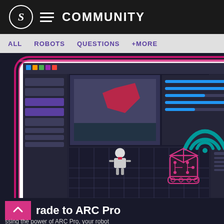S ☰ COMMUNITY
ALL  ROBOTS  QUESTIONS  +MORE
[Figure (screenshot): Screenshot of ARC robotics software interface showing a tablet/phone device with the ARC Pro software UI open, displaying camera feeds, 3D robot simulation grid, servo/control panels, and a WiFi signal icon with a small robot graphic on the right side.]
rade to ARC Pro
ssing the power of ARC Pro, your robot